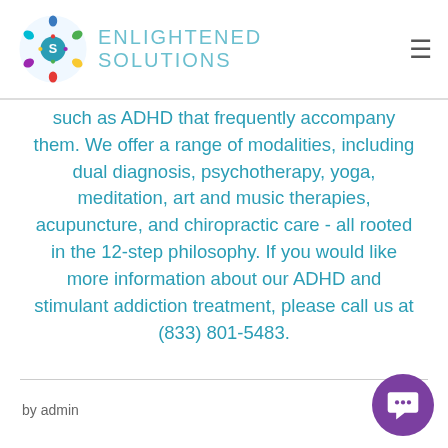[Figure (logo): Enlightened Solutions logo with colorful circular emblem and teal text reading ENLIGHTENED SOLUTIONS]
such as ADHD that frequently accompany them. We offer a range of modalities, including dual diagnosis, psychotherapy, yoga, meditation, art and music therapies, acupuncture, and chiropractic care - all rooted in the 12-step philosophy. If you would like more information about our ADHD and stimulant addiction treatment, please call us at (833) 801-5483.
by admin